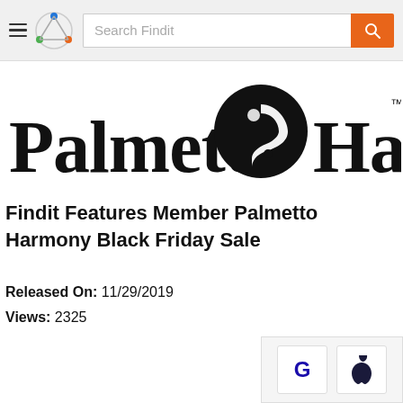Search Findit
[Figure (logo): Palmetto Harmony logo — black circle with stylized leaf/spiral icon, bold serif text reading 'Palmetto Harmony' with TM mark]
Findit Features Member Palmetto Harmony Black Friday Sale
Released On: 11/29/2019
Views: 2325